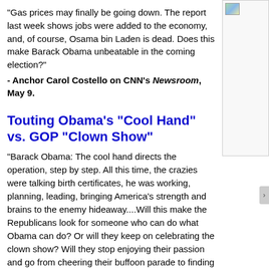"Gas prices may finally be going down. The report last week shows jobs were added to the economy, and, of course, Osama bin Laden is dead. Does this make Barack Obama unbeatable in the coming election?"
- Anchor Carol Costello on CNN's Newsroom, May 9.
[Figure (illustration): Small thumbnail image in sidebar, appears to show a landscape photo]
Touting Obama's "Cool Hand" vs. GOP "Clown Show"
"Barack Obama: The cool hand directs the operation, step by step. All this time, the crazies were talking birth certificates, he was working, planning, leading, bringing America's strength and brains to the enemy hideaway....Will this make the Republicans look for someone who can do what Obama can do? Or will they keep on celebrating the clown show? Will they stop enjoying their passion and go from cheering their buffoon parade to finding a real pick to put up against a proven master and commander?"
- Chris Matthews opening Hardball, May 2. [Audiobridge...